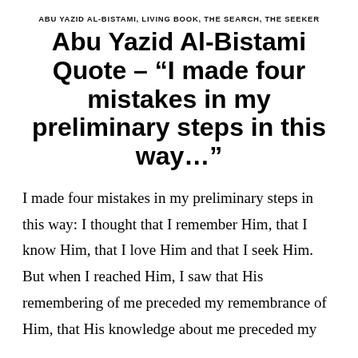ABU YAZID AL-BISTAMI, LIVING BOOK, THE SEARCH, THE SEEKER
Abu Yazid Al-Bistami Quote – “I made four mistakes in my preliminary steps in this way…”
I made four mistakes in my preliminary steps in this way: I thought that I remember Him, that I know Him, that I love Him and that I seek Him. But when I reached Him, I saw that His remembering of me preceded my remembrance of Him, that His knowledge about me preceded my